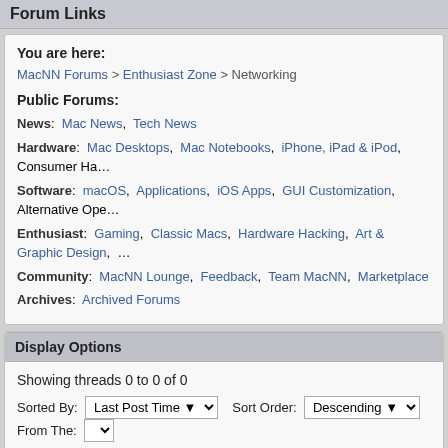Forum Links
You are here:
MacNN Forums > Enthusiast Zone > Networking
Public Forums:
News: Mac News, Tech News
Hardware: Mac Desktops, Mac Notebooks, iPhone, iPad & iPod, Consumer Ha...
Software: macOS, Applications, iOS Apps, GUI Customization, Alternative Ope...
Enthusiast: Gaming, Classic Macs, Hardware Hacking, Art & Graphic Design, ...
Community: MacNN Lounge, Feedback, Team MacNN, Marketplace
Archives: Archived Forums
Display Options
Showing threads 0 to 0 of 0
Sorted By: Last Post Time  Sort Order: Descending  From The: ...
What's Going On
Currently Active Users: 2 (0 members and 2 guests)
Moderators : 3